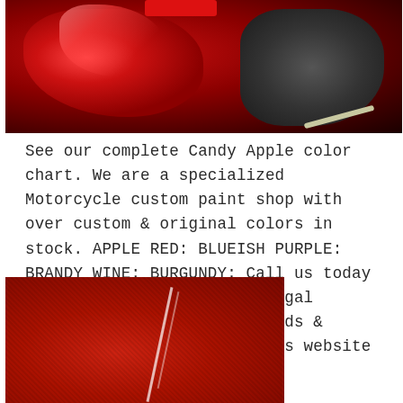[Figure (photo): Red damaged car bumper/fender being worked on in a shop, with a red button/label at the top, dark mechanical components visible on the right side, and a cord/wire visible]
See our complete Candy Apple color chart. We are a specialized Motorcycle custom paint shop with over custom & original colors in stock. APPLE RED: BLUEISH PURPLE: BRANDY WINE: BURGUNDY: Call us today for your Custom Paint () Legal Disclosure: All names, brands & trademarks mentioned in this website are respected.
[Figure (photo): Close-up of red metallic candy apple paint texture with two white streaks/lines visible across the surface]